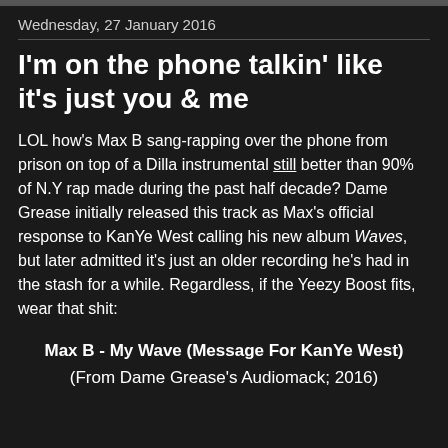Wednesday, 27 January 2016
I'm on the phone talkin' like it's just you & me
LOL how's Max B sang-rapping over the phone from prison on top of a Dilla instrumental still better than 90% of N.Y rap made during the past half decade? Dame Grease initially released this track as Max's official response to KanYe West calling his new album Waves, but later admitted it's just an older recording he's had in the stash for a while. Regardless, if the Yeezy Boost fits, wear that shit:
Max B - My Wave (Message For KanYe West)
(From Dame Grease's Audiomack; 2016)